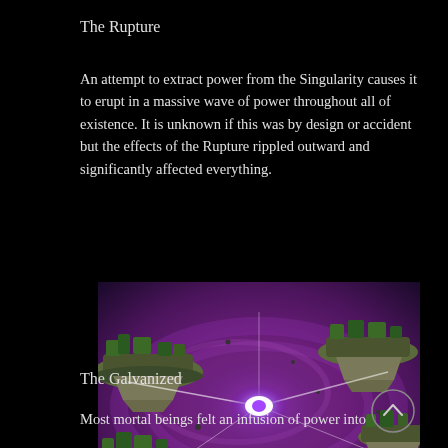The Rupture
An attempt to extract power from the Singularity causes it to erupt in a massive wave of power throughout all of existence. It is unknown if this was by design or accident but the effects of the Rupture rippled outward and significantly affected everything.
[Figure (illustration): Fantasy/sci-fi scene showing floating rocky islands with green vegetation against a purple cosmic background, with a bright white and purple energy explosion at the center.]
The Galvanized
Most mortal beings felt an infusion of power into